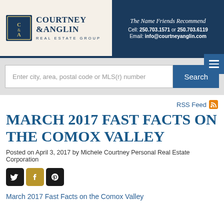Courtney & Anglin Real Estate Group — The Name Friends Recommend — Cell: 250.703.1571 or 250.703.6119 — Email: info@courtneyanglin.com
Enter city, area, postal code or MLS(r) number
Search
RSS Feed
MARCH 2017 FAST FACTS ON THE COMOX VALLEY
Posted on April 3, 2017 by Michele Courtney Personal Real Estate Corporation
March 2017 Fast Facts on the Comox Valley